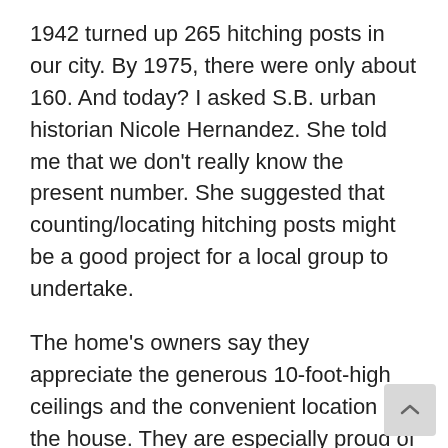1942 turned up 265 hitching posts in our city. By 1975, there were only about 160. And today? I asked S.B. urban historian Nicole Hernandez. She told me that we don't really know the present number. She suggested that counting/locating hitching posts might be a good project for a local group to undertake.
The home's owners say they appreciate the generous 10-foot-high ceilings and the convenient location of the house. They are especially proud of the hitching post and told me that they occasionally hear people playing with the iron ring to make a ringing sound. It is a sound that brings back echoes of the past Santa Barbara.